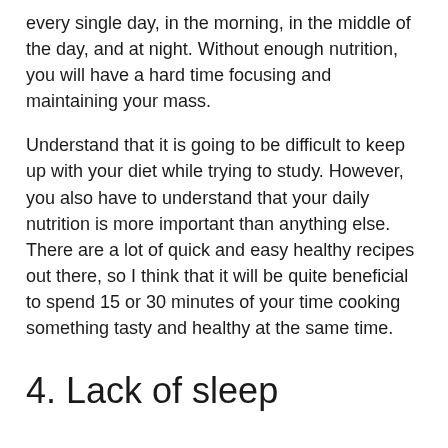every single day, in the morning, in the middle of the day, and at night. Without enough nutrition, you will have a hard time focusing and maintaining your mass.
Understand that it is going to be difficult to keep up with your diet while trying to study. However, you also have to understand that your daily nutrition is more important than anything else. There are a lot of quick and easy healthy recipes out there, so I think that it will be quite beneficial to spend 15 or 30 minutes of your time cooking something tasty and healthy at the same time.
4. Lack of sleep